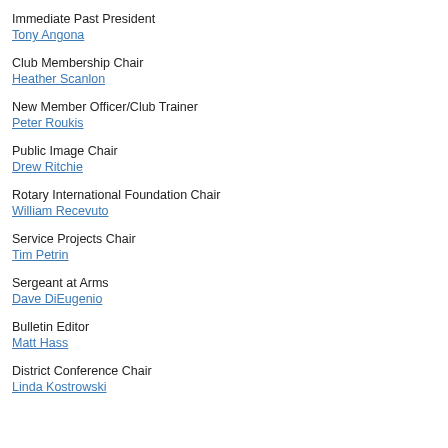Immediate Past President
Tony Angona
Club Membership Chair
Heather Scanlon
New Member Officer/Club Trainer
Peter Roukis
Public Image Chair
Drew Ritchie
Rotary International Foundation Chair
William Recevuto
Service Projects Chair
Tim Petrin
Sergeant at Arms
Dave DiEugenio
Bulletin Editor
Matt Hass
District Conference Chair
Linda Kostrowski